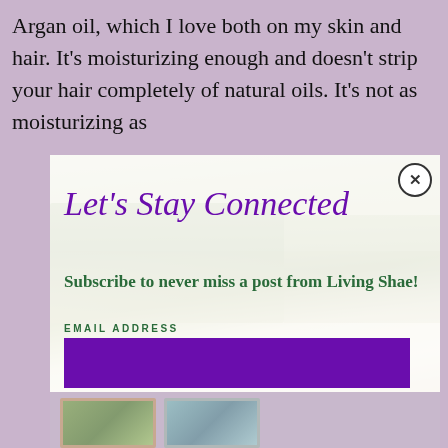Argan oil, which I love both on my skin and hair. It's moisturizing enough and doesn't strip your hair completely of natural oils. It's not as moisturizing as
[Figure (screenshot): Modal popup overlay with a beach/dune background photo showing a woman in white dress. Contains 'Let's Stay Connected' title in purple italic, green bold subtitle text 'Subscribe to never miss a post from Living Shae!', an EMAIL ADDRESS label, a purple input box, and a green SUBSCRIBE button. Close button (x) in top right corner.]
[Figure (photo): Bottom strip showing two framed artwork images partially visible, on a lavender/purple background.]